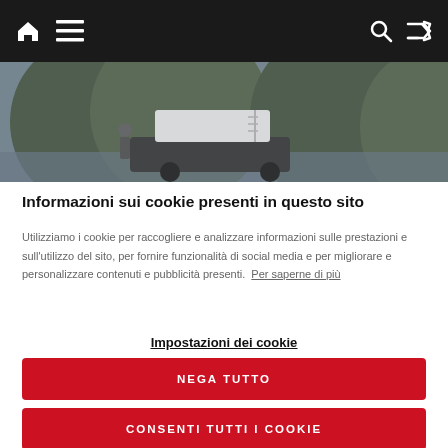Navigation bar with home, menu, search, and shuffle icons
[Figure (photo): A car with a rooftop tent/camper box parked near a lake with forest and mountains in the background. A person stands beside the car.]
Informazioni sui cookie presenti in questo sito
Utilizziamo i cookie per raccogliere e analizzare informazioni sulle prestazioni e sull'utilizzo del sito, per fornire funzionalità di social media e per migliorare e personalizzare contenuti e pubblicità presenti. Per saperne di più
Impostazioni dei cookie
NEGA TUTTO
CONSENTI TUTTI I COOKIE